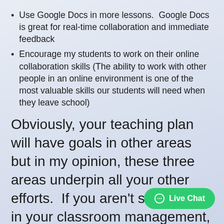Use Google Docs in more lessons.  Google Docs is great for real-time collaboration and immediate feedback
Encourage my students to work on their online collaboration skills (The ability to work with other people in an online environment is one of the most valuable skills our students will need when they leave school)
Obviously, your teaching plan will have goals in other areas but in my opinion, these three areas underpin all your other efforts.  If you aren't succeeding in your classroom management, student engagement, and use of